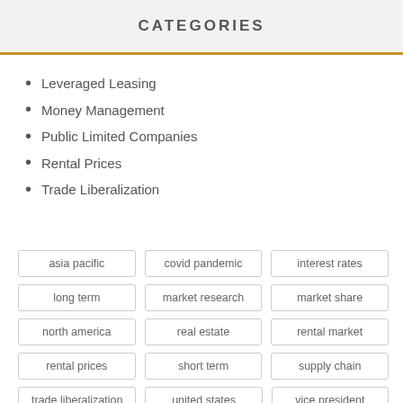CATEGORIES
Leveraged Leasing
Money Management
Public Limited Companies
Rental Prices
Trade Liberalization
asia pacific
covid pandemic
interest rates
long term
market research
market share
north america
real estate
rental market
rental prices
short term
supply chain
trade liberalization
united states
vice president